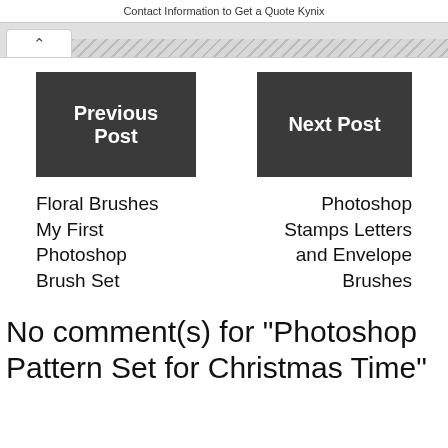Contact Information to Get a Quote Kynix
Previous Post
Next Post
Floral Brushes
My First
Photoshop
Brush Set
Photoshop
Stamps Letters
and Envelope
Brushes
No comment(s) for "Photoshop Pattern Set for Christmas Time"